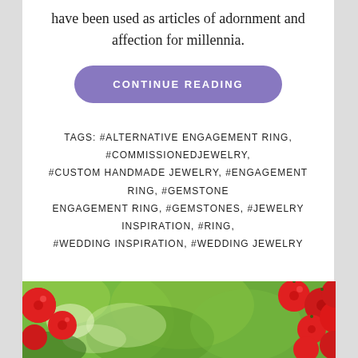have been used as articles of adornment and affection for millennia.
CONTINUE READING
TAGS: #ALTERNATIVE ENGAGEMENT RING, #COMMISSIONEDJEWELRY, #CUSTOM HANDMADE JEWELRY, #ENGAGEMENT RING, #GEMSTONE ENGAGEMENT RING, #GEMSTONES, #JEWELRY INSPIRATION, #RING, #WEDDING INSPIRATION, #WEDDING JEWELRY
[Figure (photo): Close-up photo of bright red berries with green leaves in the background.]